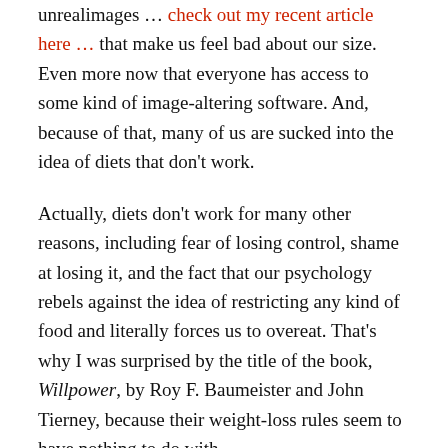unrealimages … check out my recent article here … that make us feel bad about our size.  Even more now that everyone has access to some kind of image-altering software.  And, because of that, many of us are sucked into the idea of diets that don't work.
Actually, diets don't work for many other reasons, including fear of losing control, shame at losing it, and the fact that our psychology rebels against the idea of restricting any kind of food and literally forces us to overeat.  That's why I was surprised by the title of the book, Willpower, by Roy F. Baumeister and John Tierney, because their weight-loss rules seem to have nothing to do with